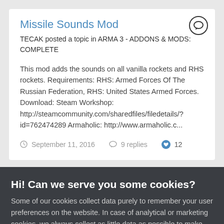Missile Sounds Mod
TECAK posted a topic in ARMA 3 - ADDONS & MODS: COMPLETE
This mod adds the sounds on all vanilla rockets and RHS rockets. Requirements: RHS: Armed Forces Of The Russian Federation, RHS: United States Armed Forces. Download: Steam Workshop: http://steamcommunity.com/sharedfiles/filedetails/?id=762474289 Armaholic: http://www.armaholic.c...
September 11, 2016   9 replies   12
Hi! Can we serve you some cookies?
Some of our cookies collect data purely to remember your user preferences on the website. In case of analytical or marketing cookies, we always collect as little data as possible to make sure we keep our marketing well targeted - which often results in you not being spammed by any of our ads at all. We're also never looking at data